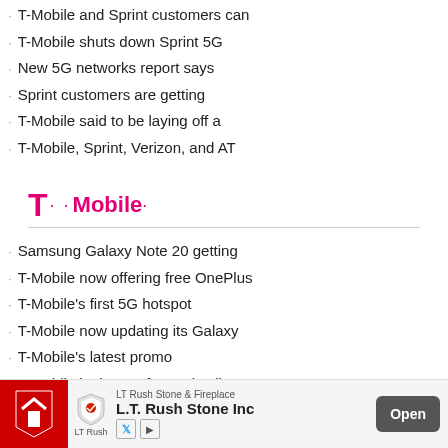T-Mobile and Sprint customers can
T-Mobile shuts down Sprint 5G
New 5G networks report says
Sprint customers are getting
T-Mobile said to be laying off a
T-Mobile, Sprint, Verizon, and AT
[Figure (logo): T-Mobile logo in magenta/pink color with T· ··Mobile· text]
Samsung Galaxy Note 20 getting
T-Mobile now offering free OnePlus
T-Mobile's first 5G hotspot
T-Mobile now updating its Galaxy
T-Mobile's latest promo
T-Mobile leak says free voice line
T-Mobile enables 988 for emergency
[Figure (screenshot): Advertisement banner for LT Rush Stone & Fireplace with red logo, LT Rush shield logo, company name, and Open button]